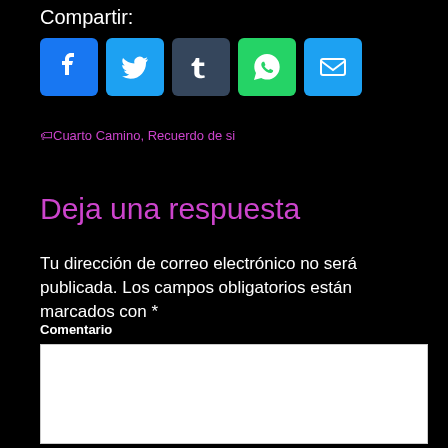Compartir:
[Figure (infographic): Social share buttons: Facebook (blue), Twitter (blue), Tumblr (dark grey), WhatsApp (green), Email (blue)]
Cuarto Camino, Recuerdo de si
Deja una respuesta
Tu dirección de correo electrónico no será publicada. Los campos obligatorios están marcados con *
Comentario